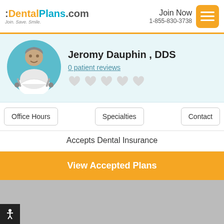DentalPlans.com Join. Save. Smile. | Join Now 1-855-830-3738
[Figure (illustration): Dentist avatar illustration in teal circle with dental tools]
Jeromy Dauphin , DDS
0 patient reviews
[Figure (other): 5 heart rating icons (empty/gray)]
Office Hours
Specialties
Contact
Accepts Dental Insurance
View Accepted Plans